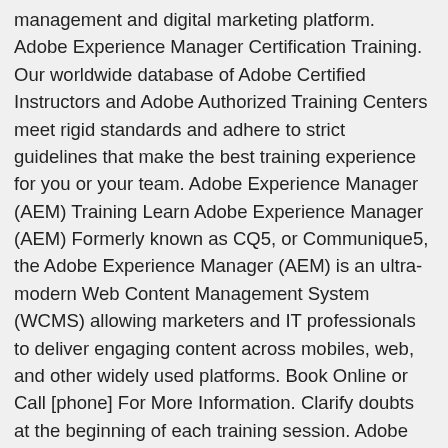management and digital marketing platform. Adobe Experience Manager Certification Training. Our worldwide database of Adobe Certified Instructors and Adobe Authorized Training Centers meet rigid standards and adhere to strict guidelines that make the best training experience for you or your team. Adobe Experience Manager (AEM) Training Learn Adobe Experience Manager (AEM) Formerly known as CQ5, or Communique5, the Adobe Experience Manager (AEM) is an ultra-modern Web Content Management System (WCMS) allowing marketers and IT professionals to deliver engaging content across mobiles, web, and other widely used platforms. Book Online or Call [phone] For More Information. Clarify doubts at the beginning of each training session. Adobe Experience Manager (AEM) training will help you develop the skills and knowledge necessary for building custom AEM applications using templates and components. Adobe Experience Manager Forms es una solución integral que conecta tus formularios y procesos de comunicación de forma que puedas proporcionarles a los clientes un procedimiento único, desde la adquisición hasta la retención.